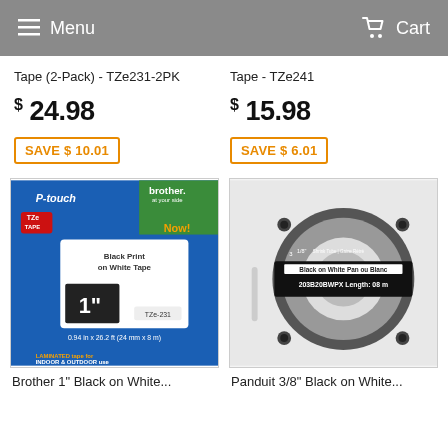Menu  Cart
Tape (2-Pack) - TZe231-2PK
Tape - TZe241
$ 24.98
$ 15.98
SAVE $ 10.01
SAVE $ 6.01
[Figure (photo): Brother P-touch TZe tape 1 inch, black print on white tape, laminated, for indoor and outdoor use, model TZe-231, 0.94 in x 26.2 ft (24 mm x 8 m)]
[Figure (photo): Panduit 3/8 inch Black on White Shrink Tube label cartridge, model 203B20BWPX]
Brother 1" Black on White...
Panduit 3/8" Black on White...